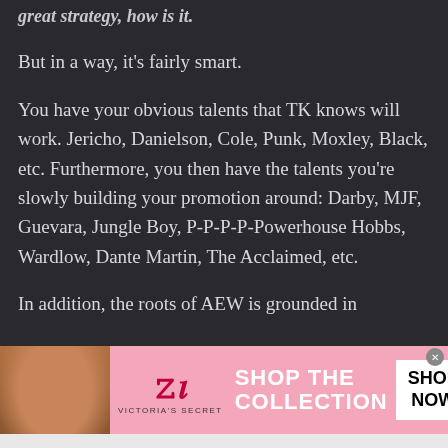great strategy, how is it.
But in a way, it's fairly smart.
You have your obvious talents that TK knows will work. Jericho, Danielson, Cole, Punk, Moxley, Black, etc. Furthermore, you then have the talents you're slowly building your promotion around: Darby, MJF, Guevara, Jungle Boy, P-P-P-P-Powerhouse Hobbs, Wardlow, Dante Martin, The Acclaimed, etc.
In addition, the roots of AEW is grounded in
[Figure (photo): Victoria's Secret advertisement banner featuring a model, VS logo, 'SHOP THE COLLECTION' text, and 'SHOP NOW' button]